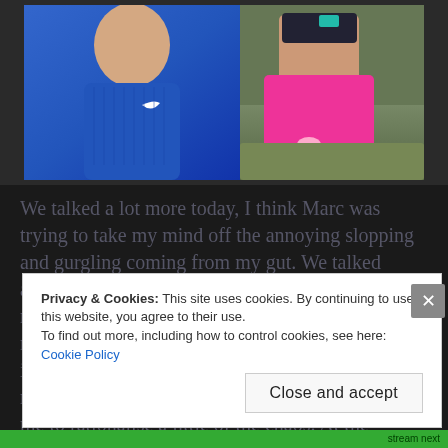[Figure (photo): Two people: on the left a person in a blue Nike sleeveless running top, on the right a person in pink shorts sitting on rocks in an outdoor setting.]
We talked a lot more today, I think Marc was trying to take my mind off the annoying slopping and gurgling coming from my gut. We talked about how I felt when I was initially diagnosed nearly seven years ago now, about my feelings now looking back on it all. It was good to discuss it while I ran as the order and repetition of the motion kept my emotions in check and allowed me to rationalise a little of the chaos. At the halfway point we sat on a
Privacy & Cookies: This site uses cookies. By continuing to use this website, you agree to their use.
To find out more, including how to control cookies, see here: Cookie Policy
Close and accept